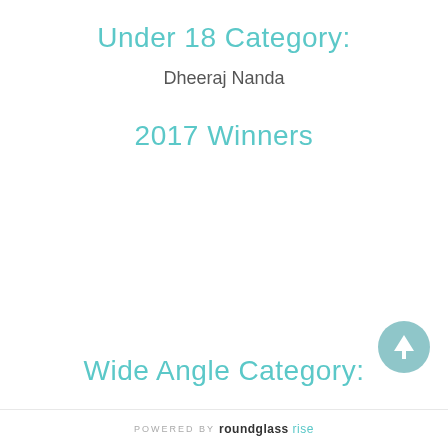Under 18 Category:
Dheeraj Nanda
2017 Winners
Wide Angle Category:
POWERED BY roundglass rise